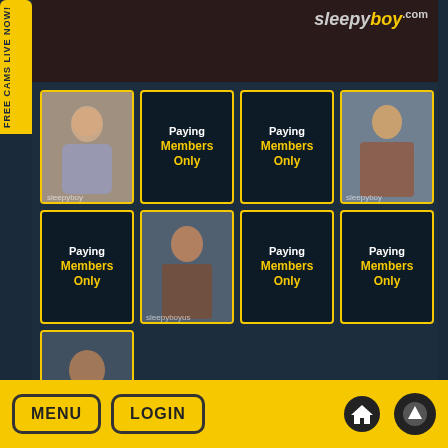[Figure (screenshot): sleepyboy.com website screenshot showing a grid of profile thumbnails. Top banner with sleepyboy.com logo. Grid of profile photos and 'Paying Members Only' placeholder cards.]
FREE CAMS LIVE NOW!
Chatrooms o
Paying Members Only
Paying Members Only
Paying Members Only
Paying Members Only
Paying Members Only
MENU
LOGIN